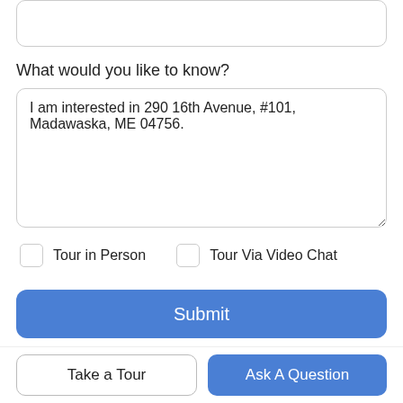Email Address
What would you like to know?
I am interested in 290 16th Avenue, #101, Madawaska, ME 04756.
Tour in Person
Tour Via Video Chat
Submit
Disclaimer: By entering your information and submitting this form, you agree
Take a Tour
Ask A Question